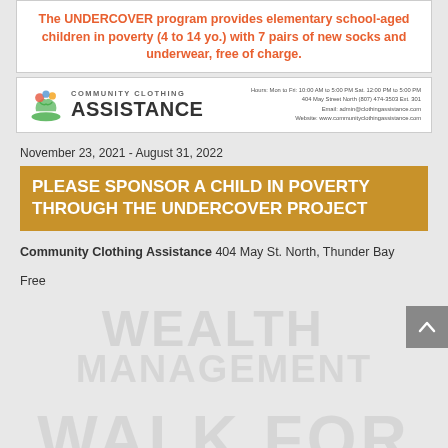The UNDERCOVER program provides elementary school-aged children in poverty (4 to 14 yo.) with 7 pairs of new socks and underwear, free of charge.
[Figure (logo): Community Clothing Assistance logo with colorful hands icon and contact information: Hours Mon to Fri 10:00 AM to 5:00 PM Sat. 12:00 PM to 5:00 PM, 404 May Street North (807) 474-3503 Ext. 301, Email: admin@clothingassistance.com, Website: www.communityclothingassistance.com]
November 23, 2021 - August 31, 2022
PLEASE SPONSOR A CHILD IN POVERTY THROUGH THE UNDERCOVER PROJECT
Community Clothing Assistance 404 May St. North, Thunder Bay
Free